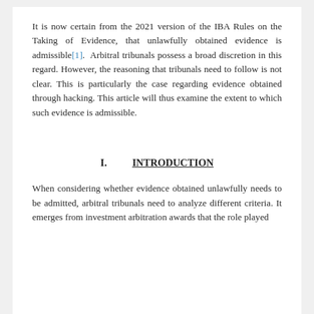It is now certain from the 2021 version of the IBA Rules on the Taking of Evidence, that unlawfully obtained evidence is admissible[1]. Arbitral tribunals possess a broad discretion in this regard. However, the reasoning that tribunals need to follow is not clear. This is particularly the case regarding evidence obtained through hacking. This article will thus examine the extent to which such evidence is admissible.
I.                INTRODUCTION
When considering whether evidence obtained unlawfully needs to be admitted, arbitral tribunals need to analyze different criteria. It emerges from investment arbitration awards that the role played